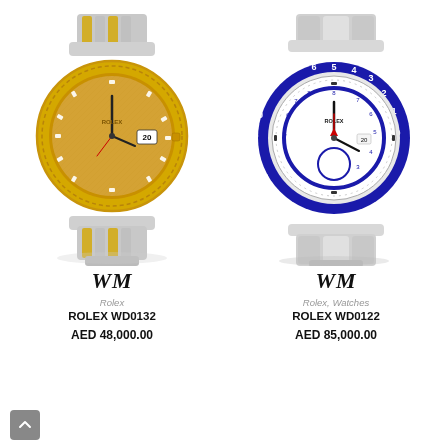[Figure (photo): Rolex Datejust gold and steel jubilee bracelet watch with champagne diamond dial]
[Figure (photo): Rolex Yacht-Master II white dial with blue bezel and stainless steel oyster bracelet]
WM
WM
Rolex
Rolex, Watches
ROLEX WD0132
ROLEX WD0122
AED 48,000.00
AED 85,000.00